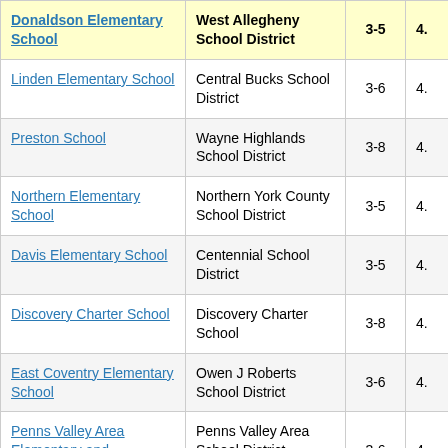| School | District | Grades | Score |
| --- | --- | --- | --- |
| Donaldson Elementary School | West Allegheny School District | 3-5 | 4. |
| Linden Elementary School | Central Bucks School District | 3-6 | 4. |
| Preston School | Wayne Highlands School District | 3-8 | 4. |
| Northern Elementary School | Northern York County School District | 3-5 | 4. |
| Davis Elementary School | Centennial School District | 3-5 | 4. |
| Discovery Charter School | Discovery Charter School | 3-8 | 4. |
| East Coventry Elementary School | Owen J Roberts School District | 3-6 | 4. |
| Penns Valley Area Elementary and Intermediate School | Penns Valley Area School District | 3-6 | 4. |